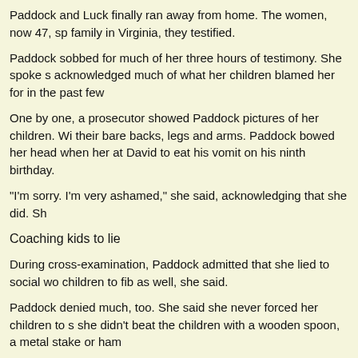Paddock and Luck finally ran away from home. The women, now 47, sp family in Virginia, they testified.
Paddock sobbed for much of her three hours of testimony. She spoke s acknowledged much of what her children blamed her for in the past few
One by one, a prosecutor showed Paddock pictures of her children. Wi their bare backs, legs and arms. Paddock bowed her head when her at David to eat his vomit on his ninth birthday.
"I'm sorry. I'm very ashamed," she said, acknowledging that she did. Sh
Coaching kids to lie
During cross-examination, Paddock admitted that she lied to social wo children to fib as well, she said.
Paddock denied much, too. She said she never forced her children to s she didn't beat the children with a wooden spoon, a metal stake or ham
"I would never do that," she said firmly.
Paddock told jurors she had tried to have children of her own. Pregnan with Johnny, the two decided to adopt to give Jessy, Johnny's daughter
A placemat at a Wendy's fast-food restaurant inspired the Paddocks, Ly Dave Thomas, was an adopted father and a champion of patchwork fam